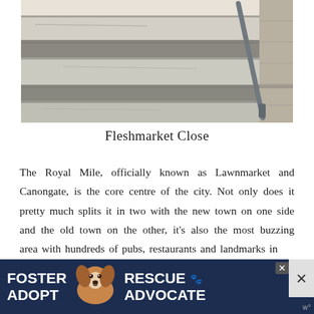[Figure (photo): Photograph of stone steps (Fleshmarket Close) with metal handrail on the right side, stone wall in background]
Fleshmarket Close
The Royal Mile, officially known as Lawnmarket and Canongate, is the core centre of the city. Not only does it pretty much splits it in two with the new town on one side and the old town on the other, it's also the most buzzing area with hundreds of pubs, restaurants and landmarks in
[Figure (infographic): Advertisement banner: Foster Adopt with dog image, Rescue Advocate text, dark blue background with white bold text]